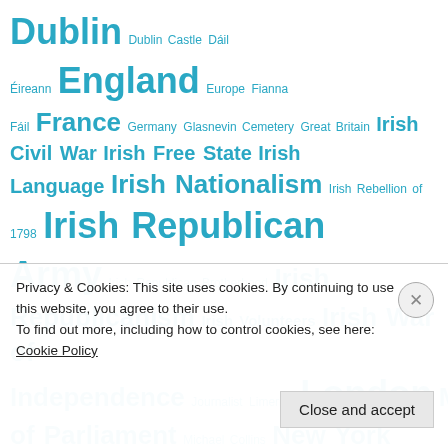[Figure (infographic): Tag/word cloud of Irish history and geography topics in varying font sizes, all in teal/cyan color. Terms include Dublin, England, France, Irish Civil War, Irish Free State, Irish Language, Irish Nationalism, Irish Republican Army, Irish Republicanism, Irish War of Independence, London, Northern Ireland, Sinn Féin, Taoiseach, Trinity College Dublin, United States, and many more.]
Privacy & Cookies: This site uses cookies. By continuing to use this website, you agree to their use.
To find out more, including how to control cookies, see here: Cookie Policy
Close and accept